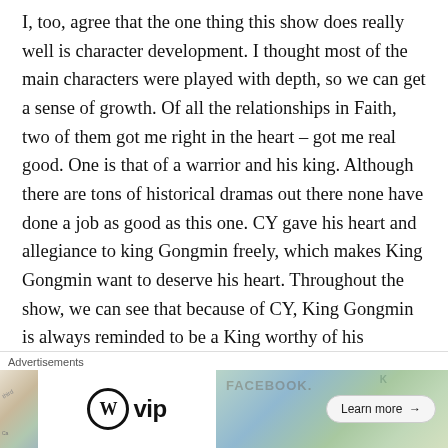I, too, agree that the one thing this show does really well is character development. I thought most of the main characters were played with depth, so we can get a sense of growth. Of all the relationships in Faith, two of them got me right in the heart – got me real good. One is that of a warrior and his king. Although there are tons of historical dramas out there none have done a job as good as this one. CY gave his heart and allegiance to king Gongmin freely, which makes King Gongmin want to deserve his heart. Throughout the show, we can see that because of CY, King Gongmin is always reminded to be a King worthy of his General. I was a happy...
[Figure (other): Advertisement banner with WordPress VIP logo on left, map/social media graphic in center-right, and a Learn more button. Close button (X) in upper right corner.]